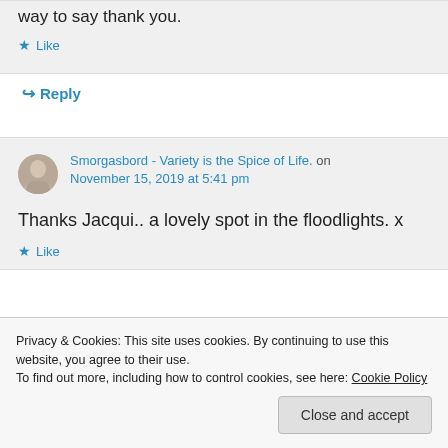way to say thank you.
Like
Reply
Smorgasbord - Variety is the Spice of Life. on November 15, 2019 at 5:41 pm
Thanks Jacqui.. a lovely spot in the floodlights. x
Like
Privacy & Cookies: This site uses cookies. By continuing to use this website, you agree to their use. To find out more, including how to control cookies, see here: Cookie Policy
Close and accept